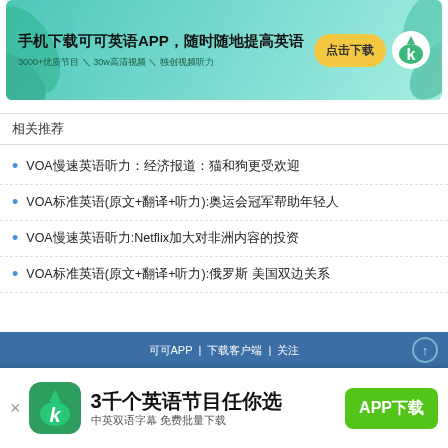[Figure (infographic): App download banner advertisement for 可可英语 (Keke English) app, teal/green background with leaf decorations, text: 手机下载可可英语APP，随时随地提高英语, 3000+优质节目＼30w高清视频＼独创视频听力, with yellow 点击下载 button and green K logo]
相关推荐
VOA慢速英语听力：经济报道：猫和狗更受欢迎
VOA标准英语(原文+翻译+听力):奥运会冠军帮助年轻人
VOA慢速英语听力:Netflix加大对非洲内容的投资
VOA标准英语(原文+翻译+听力):俄罗斯 美国双边关系
可可APP 下载客户端 | 关注
[Figure (infographic): App download bar at bottom: 可可英语 app icon (green with K), text 3千个英语节目任你选, 中英双语字幕 免费批量下载, green APP下载 button]